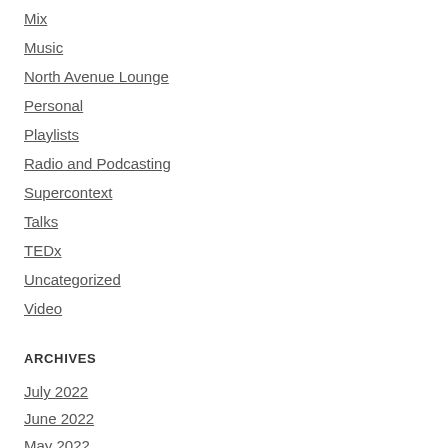Mix
Music
North Avenue Lounge
Personal
Playlists
Radio and Podcasting
Supercontext
Talks
TEDx
Uncategorized
Video
ARCHIVES
July 2022
June 2022
May 2022
April 2022